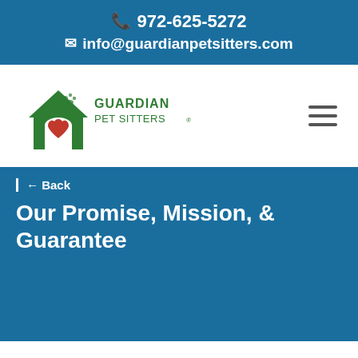📞 972-625-5272 ✉ info@guardianpetsitters.com
[Figure (logo): Guardian Pet Sitters logo — green house with red heart and paw print, company name in green text]
≡
← Back
Our Promise, Mission, & Guarantee